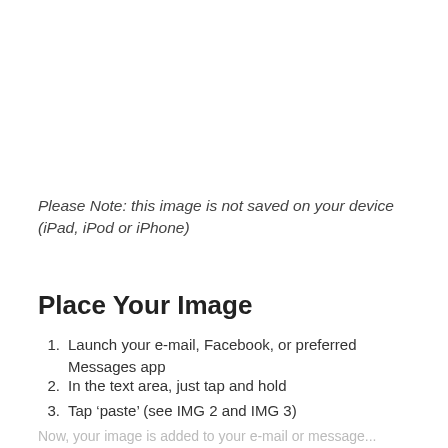Please Note: this image is not saved on your device (iPad, iPod or iPhone)
Place Your Image
1. Launch your e-mail, Facebook, or preferred Messages app
2. In the text area, just tap and hold
3. Tap ‘paste’ (see IMG 2 and IMG 3)
Now, your image is added to your e-mail or message...